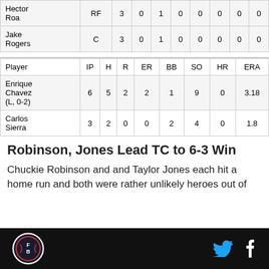| Player | RF/C | AB/IP | R/H | H/R | RBI/ER | BB | SO/BB | HR/SO | ERA/HR |
| --- | --- | --- | --- | --- | --- | --- | --- | --- | --- |
| Hector Roa | RF | 3 | 0 | 1 | 0 | 0 | 0 | 0 | 0 |
| Jake Rogers | C | 3 | 0 | 1 | 0 | 0 | 0 | 0 | 0 |
| Player | IP | H | R | ER | BB | SO | HR | ERA |
| --- | --- | --- | --- | --- | --- | --- | --- | --- |
| Enrique Chavez (L, 0-2) | 6 | 5 | 2 | 2 | 1 | 9 | 0 | 3.18 |
| Carlos Sierra | 3 | 2 | 0 | 0 | 2 | 4 | 0 | 1.8 |
Robinson, Jones Lead TC to 6-3 Win
Chuckie Robinson and and Taylor Jones each hit a home run and both were rather unlikely heroes out of